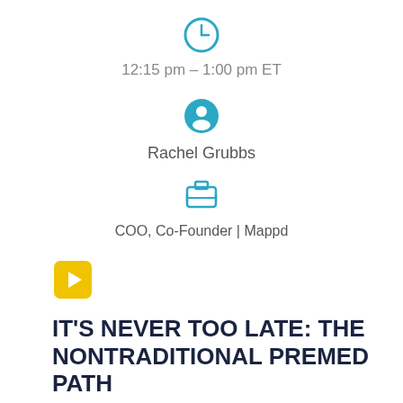[Figure (other): Teal clock icon]
12:15 pm – 1:00 pm ET
[Figure (other): Teal person/user icon]
Rachel Grubbs
[Figure (other): Teal briefcase icon]
COO, Co-Founder | Mappd
[Figure (other): Yellow play button icon]
IT'S NEVER TOO LATE: THE NONTRADITIONAL PREMED PATH